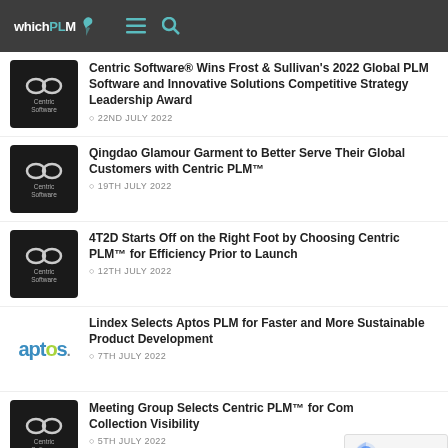whichPLM
Centric Software® Wins Frost & Sullivan's 2022 Global PLM Software and Innovative Solutions Competitive Strategy Leadership Award · 22ND JULY 2022
Qingdao Glamour Garment to Better Serve Their Global Customers with Centric PLM™ · 19TH JULY 2022
4T2D Starts Off on the Right Foot by Choosing Centric PLM™ for Efficiency Prior to Launch · 12TH JULY 2022
Lindex Selects Aptos PLM for Faster and More Sustainable Product Development · 7TH JULY 2022
Meeting Group Selects Centric PLM™ for Com... Collection Visibility · 5TH JULY 2022